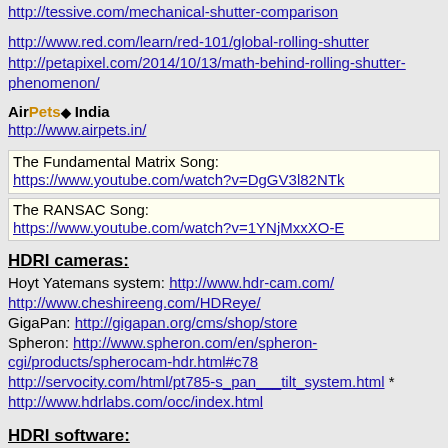http://tessive.com/mechanical-shutter-comparison
http://www.red.com/learn/red-101/global-rolling-shutter
http://petapixel.com/2014/10/13/math-behind-rolling-shutter-phenomenon/
AirPets◆ India
http://www.airpets.in/
The Fundamental Matrix Song:
https://www.youtube.com/watch?v=DgGV3l82NTk
The RANSAC Song:
https://www.youtube.com/watch?v=1YNjMxxXO-E
HDRI cameras:
Hoyt Yatemans system: http://www.hdr-cam.com/
http://www.cheshireeng.com/HDReye/
GigaPan: http://gigapan.org/cms/shop/store
Spheron: http://www.spheron.com/en/spheron-cgi/products/spherocam-hdr.html#c78
http://servocity.com/html/pt785-s_pan___tilt_system.html *
http://www.hdrlabs.com/occ/index.html
HDRI software: